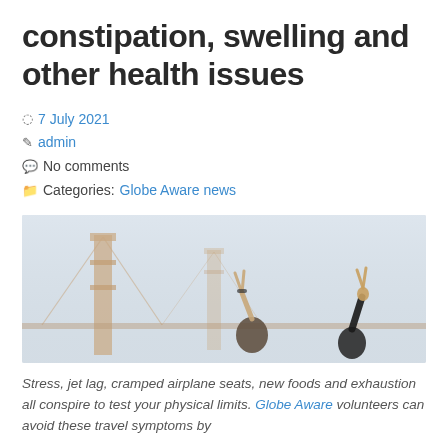constipation, swelling and other health issues
7 July 2021
admin
No comments
Categories: Globe Aware news
[Figure (photo): Two people making peace signs in front of the Golden Gate Bridge in fog]
Stress, jet lag, cramped airplane seats, new foods and exhaustion all conspire to test your physical limits. Globe Aware volunteers can avoid these travel symptoms by